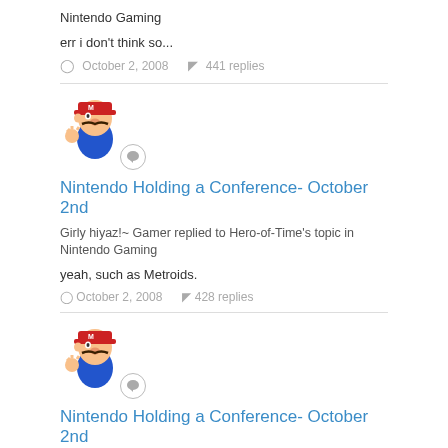Nintendo Gaming
err i don't think so...
October 2, 2008   441 replies
[Figure (illustration): Mario character avatar with speech bubble badge]
Nintendo Holding a Conference- October 2nd
Girly hiyaz!~ Gamer replied to Hero-of-Time's topic in Nintendo Gaming
yeah, such as Metroids.
October 2, 2008   428 replies
[Figure (illustration): Mario character avatar with speech bubble badge]
Nintendo Holding a Conference- October 2nd
Girly hiyaz!~ Gamer replied to Hero-of-Time's topic in Nintendo Gaming
hiyahiyahiya...